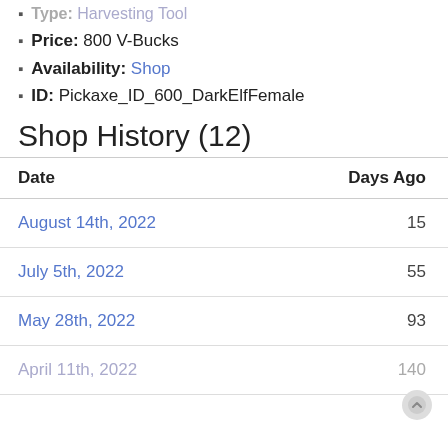Type: Harvesting Tool
Price: 800 V-Bucks
Availability: Shop
ID: Pickaxe_ID_600_DarkElfFemale
Shop History (12)
| Date | Days Ago |
| --- | --- |
| August 14th, 2022 | 15 |
| July 5th, 2022 | 55 |
| May 28th, 2022 | 93 |
| April 11th, 2022 | 140 |